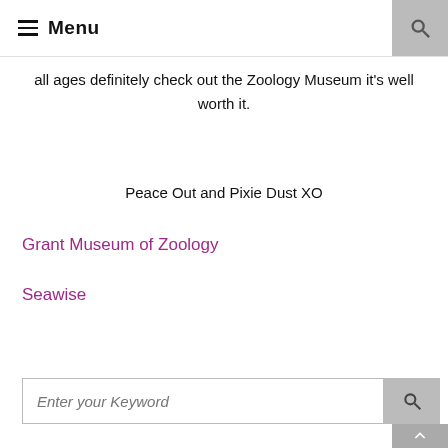Menu
all ages definitely check out the Zoology Museum it's well worth it.
Peace Out and Pixie Dust XO
Grant Museum of Zoology
Seawise